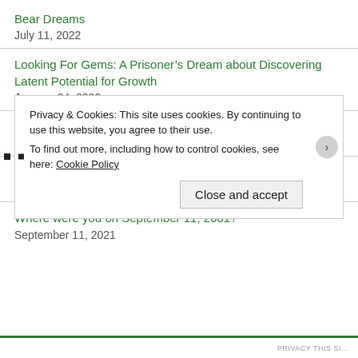Bear Dreams
July 11, 2022
Looking For Gems: A Prisoner’s Dream about Discovering Latent Potential for Growth
January 24, 2022
My Imprisonment Dream
December 11, 2021
Judge Rules in Family Court case of Nevins vs Czifra
December 5, 2021
Where were you on September 11, 2001?
September 11, 2021
Privacy & Cookies: This site uses cookies. By continuing to use this website, you agree to their use.
To find out more, including how to control cookies, see here: Cookie Policy
Close and accept